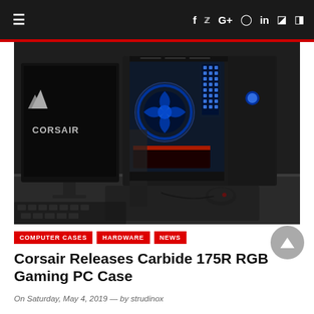≡   f  y  G+  ⊙  in  ⊘  )))
[Figure (photo): Corsair Carbide 175R RGB gaming PC case on a desk next to a Corsair monitor, with blue RGB fans visible through the tempered glass side panel, and a gaming mouse in the foreground]
COMPUTER CASES   HARDWARE   NEWS
Corsair Releases Carbide 175R RGB Gaming PC Case
On Saturday, May 4, 2019 — by strudinox